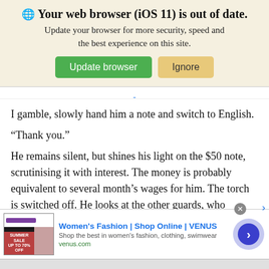[Figure (screenshot): Browser update notification banner with globe icon, bold title 'Your web browser (iOS 11) is out of date.', subtitle text, and two buttons: green 'Update browser' and tan 'Ignore']
I gamble, slowly hand him a note and switch to English.
“Thank you.”
He remains silent, but shines his light on the $50 note, scrutinising it with interest. The money is probably equivalent to several month’s wages for him. The torch is switched off. He looks at the other guards, who suspect nothing and are chatting away by a military jeep. Then he pockets the note.
[Figure (screenshot): Advertisement banner for Women's Fashion | Shop Online | VENUS with product image, brand link in blue, description 'Shop the best in women's fashion, clothing, swimwear', venus.com URL, and a blue arrow button. Close X button and external link icon visible.]